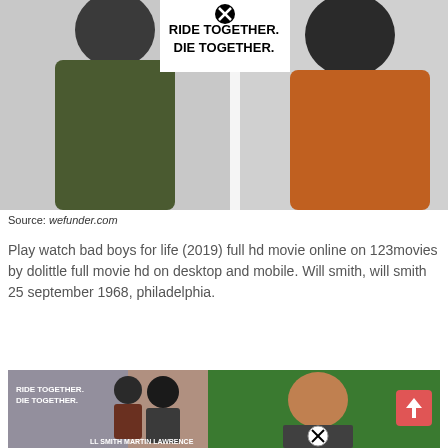[Figure (photo): Movie promotional image for Bad Boys for Life showing two men in dark clothing with text 'RIDE TOGETHER. DIE TOGETHER.' and an X close button icon at top center]
Source: wefunder.com
Play watch bad boys for life (2019) full hd movie online on 123movies by dolittle full movie hd on desktop and mobile. Will smith, will smith 25 september 1968, philadelphia.
[Figure (screenshot): Movie promotional image collage showing Bad Boys for Life poster with 'RIDE TOGETHER. DIE TOGETHER.' text, Will Smith and Martin Lawrence, alongside a reaction image of a person on a green background with an X close button]